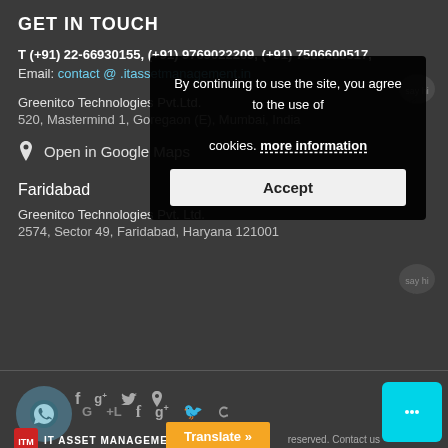GET IN TOUCH
T (+91) 22-66930155, (+91) 9769022209, (+91) 7506600517,
Email: contact @ .itassetmanagement.in
Greenitco Technologies Pvt.Ltd.
520, Mastermind 1, Goregaon (E), Mumbai, India
Open in Google Maps
Faridabad
Greenitco Technologies Pvt. Ltd.
2574, Sector 49, Faridabad, Haryana 121001
By continuing to use the site, you agree to the use of cookies. more information Accept
IT ASSET MANAGEMENT
Translate »
reserved. Contact us